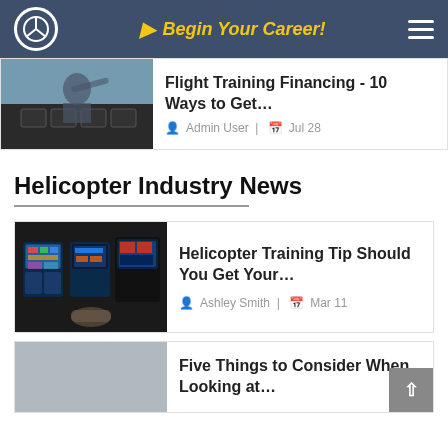Begin Your Career!
[Figure (screenshot): Partially visible article card with cockpit photo thumbnail. Title: Flight Training Financing - 10 Ways to Get... Author: Admin User, Date: Jul 28]
Helicopter Industry News
[Figure (photo): Helicopter cockpit with digital displays, dark interior]
Helicopter Training Tip Should You Get Your...
Ashley Smith | Mar 11
Five Things to Consider When Looking at...